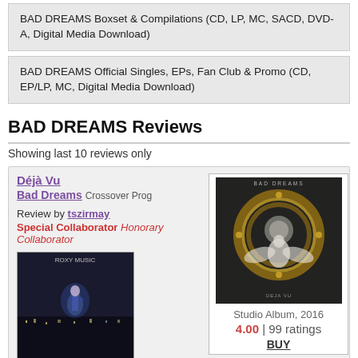BAD DREAMS Boxset & Compilations (CD, LP, MC, SACD, DVD-A, Digital Media Download)
BAD DREAMS Official Singles, EPs, Fan Club & Promo (CD, EP/LP, MC, Digital Media Download)
BAD DREAMS Reviews
Showing last 10 reviews only
Déjà Vu
Bad Dreams Crossover Prog
Review by tszirmay
Special Collaborator Honorary Collaborator
[Figure (photo): Roxy Music album cover — dark blue/black nighttime scene with a woman in spotlight]
I was among the
[Figure (photo): Bad Dreams - Déjà Vu album cover — ornate golden circular design with white angel figures on dark background]
Studio Album, 2016
4.00 | 99 ratings
BUY